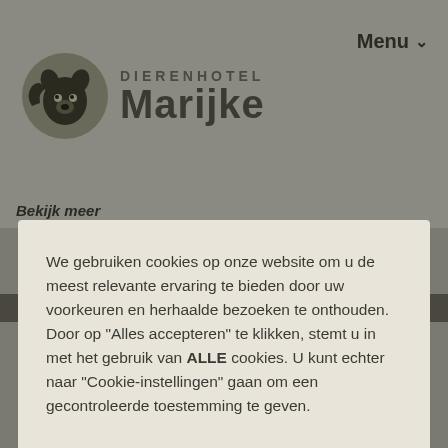[Figure (logo): Dierenhotel Marijke logo with stylized animal icon and text]
Menu ∨
Bekijk meer
We gebruiken cookies op onze website om u de meest relevante ervaring te bieden door uw voorkeuren en herhaalde bezoeken te onthouden. Door op "Alles accepteren" te klikken, stemt u in met het gebruik van ALLE cookies. U kunt echter naar "Cookie-instellingen" gaan om een gecontroleerde toestemming te geven.
Cookie instellingen
Accepteren
reserveren